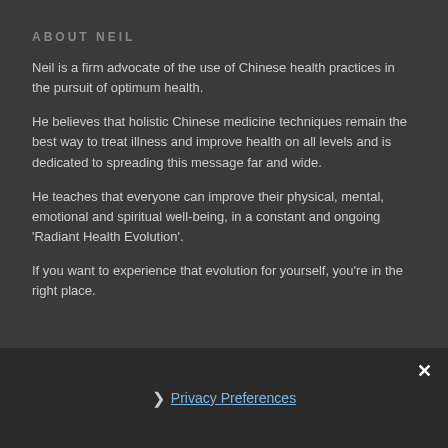ABOUT NEIL
Neil is a firm advocate of the use of Chinese health practices in the pursuit of optimum health.
He believes that holistic Chinese medicine techniques remain the best way to treat illness and improve health on all levels and is dedicated to spreading this message far and wide.
He teaches that everyone can improve their physical, mental, emotional and spiritual well-being, in a constant and ongoing 'Radiant Health Evolution'.
If you want to experience that evolution for yourself, you're in the right place.
× Privacy Preferences